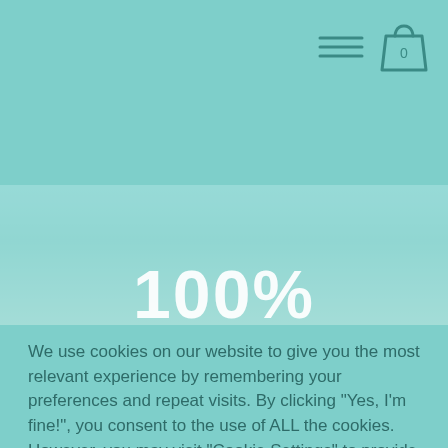[Figure (screenshot): Website header navigation bar with hamburger menu icon and shopping bag icon with '0' on teal background]
[Figure (photo): Hero image showing a blue sky with clouds and a person in the background, overlaid with semi-transparent teal wash and large '100%' text]
We use cookies on our website to give you the most relevant experience by remembering your preferences and repeat visits. By clicking "Yes, I'm fine!", you consent to the use of ALL the cookies. However, you may visit "Cookie Settings" to provide a controlled consent.
Cookie Settings
Yes, I'm fine!